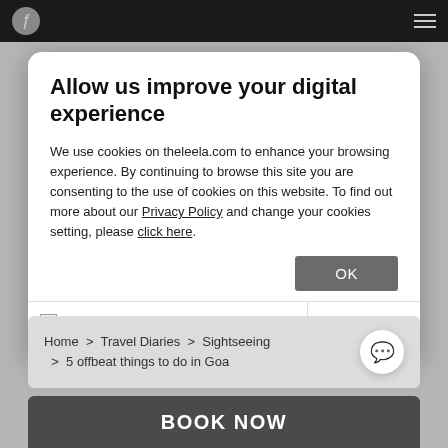Allow us improve your digital experience
We use cookies on theleela.com to enhance your browsing experience. By continuing to browse this site you are consenting to the use of cookies on this website. To find out more about our Privacy Policy and change your cookies setting, please click here.
OK
Necessary  Preferences  Statistics  Marketing  Show details
Home > Travel Diaries > Sightseeing > 5 offbeat things to do in Goa
BOOK NOW